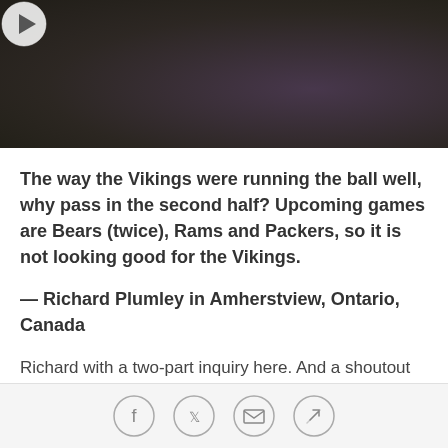[Figure (photo): Video thumbnail showing person in dark clothing with play button overlay, purple/dark background tones]
The way the Vikings were running the ball well, why pass in the second half? Upcoming games are Bears (twice), Rams and Packers, so it is not looking good for the Vikings.
— Richard Plumley in Amherstview, Ontario, Canada
Richard with a two-part inquiry here. And a shoutout to him for the support from the northeast shore of Lake Ontario.
Social share icons: Facebook, Twitter, Email, Link